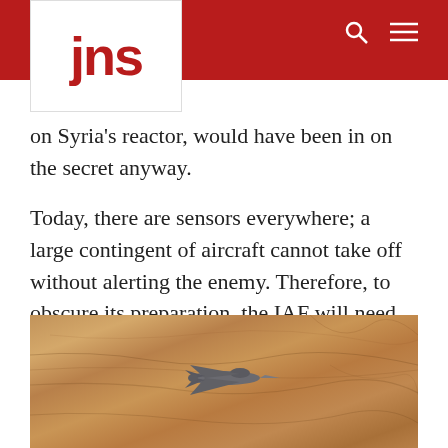jns
on Syria's reactor, would have been in on the secret anyway.
Today, there are sensors everywhere; a large contingent of aircraft cannot take off without alerting the enemy. Therefore, to obscure its preparation, the IAF will need to create an ongoing routine of drills—which come at an immense expense.
[Figure (photo): Aerial photograph of a military fighter jet flying low over desert terrain with sandy brown rocky landscape below.]